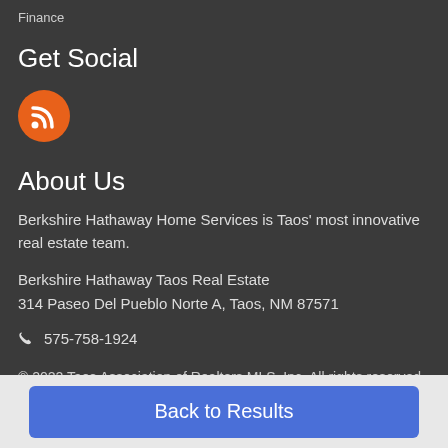Finance
Get Social
[Figure (illustration): Orange circle with white RSS feed icon]
About Us
Berkshire Hathaway Home Services is Taos' most innovative real estate team.
Berkshire Hathaway Taos Real Estate
314 Paseo Del Pueblo Norte A, Taos, NM 87571
📞 575-758-1924
© 2022 Taos Association of Realtors MLS, Inc. All rights reserved. Data last updated: 2022-08-22T07:29:14.457. The data relating to real estate for sale in this web site comes in
Back to Results